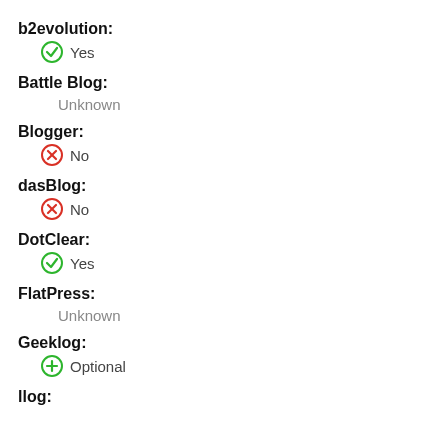b2evolution:
Yes
Battle Blog:
Unknown
Blogger:
No
dasBlog:
No
DotClear:
Yes
FlatPress:
Unknown
Geeklog:
Optional
llog: